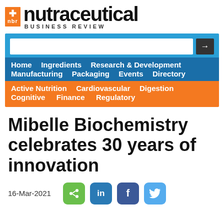nbr nutraceutical BUSINESS REVIEW
[Figure (screenshot): Website navigation bar with search box, blue nav links (Home, Ingredients, Research & Development, Manufacturing, Packaging, Events, Directory) and orange nav links (Active Nutrition, Cardiovascular, Digestion, Cognitive, Finance, Regulatory)]
Mibelle Biochemistry celebrates 30 years of innovation
16-Mar-2021